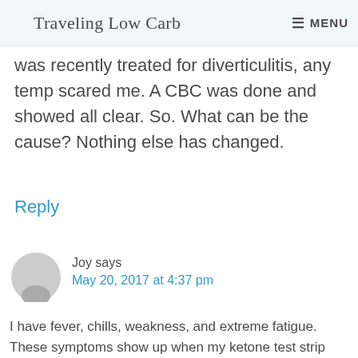Traveling Low Carb  MENU
was recently treated for diverticulitis, any temp scared me. A CBC was done and showed all clear. So. What can be the cause? Nothing else has changed.
Reply
Joy says
May 20, 2017 at 4:37 pm
I have fever, chills, weakness, and extreme fatigue. These symptoms show up when my ketone test strip reads 8.0 or greater. I end up trying to boost electrolytes, which is hard to find as a low carb source.